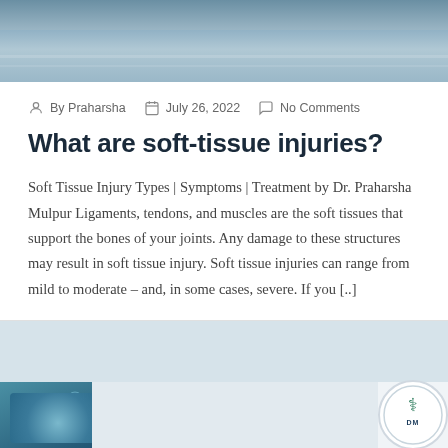[Figure (photo): Hero banner image showing a blue-grey water or surface texture background]
By Praharsha   July 26, 2022   No Comments
What are soft-tissue injuries?
Soft Tissue Injury Types | Symptoms | Treatment by Dr. Praharsha Mulpur Ligaments, tendons, and muscles are the soft tissues that support the bones of your joints. Any damage to these structures may result in soft tissue injury. Soft tissue injuries can range from mild to moderate – and, in some cases, severe. If you [..]
[Figure (photo): Bottom strip showing a robotic/medical illustration on the left, a light blue-grey middle section, and a circular logo on the right]